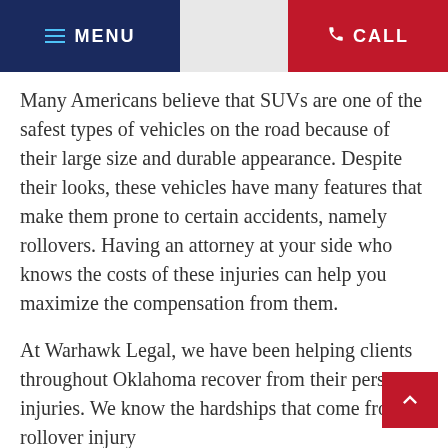MENU | CALL
Many Americans believe that SUVs are one of the safest types of vehicles on the road because of their large size and durable appearance. Despite their looks, these vehicles have many features that make them prone to certain accidents, namely rollovers. Having an attorney at your side who knows the costs of these injuries can help you maximize the compensation from them.
At Warhawk Legal, we have been helping clients throughout Oklahoma recover from their personal injuries. We know the hardships that come from a rollover injury